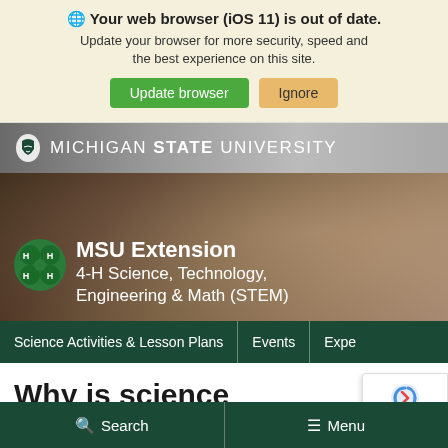🌐 Your web browser (iOS 11) is out of date. Update your browser for more security, speed and the best experience on this site.
Update browser | Ignore
[Figure (screenshot): Michigan State University header banner with Spartan helmet logo and text MICHIGAN STATE UNIVERSITY on a dark photographic background]
[Figure (screenshot): MSU Extension 4-H Science, Technology, Engineering & Math (STEM) hero banner with 4-H clover logo on a photographic background of students]
Science Activities & Lesson Plans | Events | Expe
Why is science important for youth to experience every day?
[Figure (other): reCAPTCHA badge with Privacy - Terms text]
🔍 Search  ☰ Menu